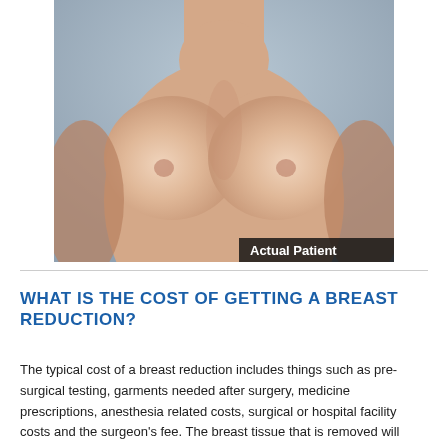[Figure (photo): Clinical before/after photo showing female torso with breast augmentation results, labeled 'Actual Patient' in lower right corner]
WHAT IS THE COST OF GETTING A BREAST REDUCTION?
The typical cost of a breast reduction includes things such as pre-surgical testing, garments needed after surgery, medicine prescriptions, anesthesia related costs, surgical or hospital facility costs and the surgeon's fee. The breast tissue that is removed will